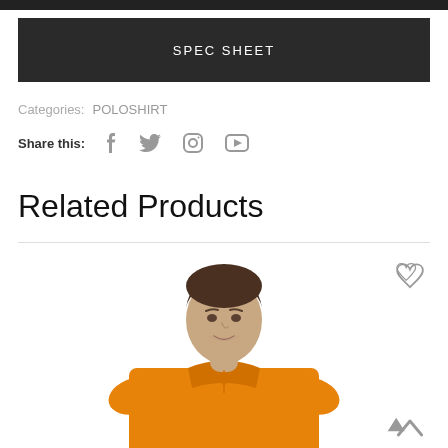SPEC SHEET
Categories:  POLOSHIRT
Share this:
Related Products
[Figure (photo): Man wearing an orange polo shirt, torso and head visible, product photo for related products section. Heart (wishlist) icon and up-arrow (scroll) icon visible on the right side.]